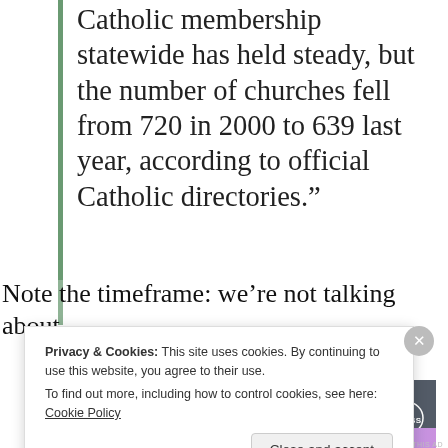Catholic membership statewide has held steady, but the number of churches fell from 720 in 2000 to 639 last year, according to official Catholic directories.”
Advertisements
[Figure (other): Advertisement banner with dark navy background showing 'Opinions. We all have them!' text and WordPress and Press Media logos on the right.]
Note the timeframe: we’re not talking about
Privacy & Cookies: This site uses cookies. By continuing to use this website, you agree to their use.
To find out more, including how to control cookies, see here: Cookie Policy